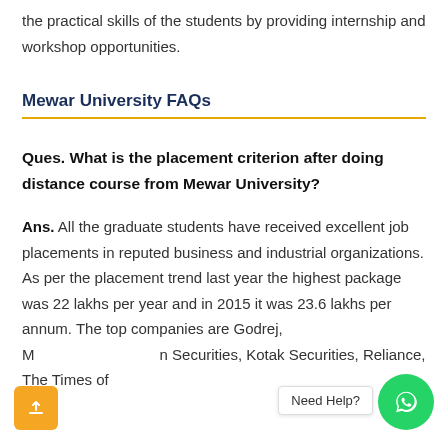the practical skills of the students by providing internship and workshop opportunities.
Mewar University FAQs
Ques. What is the placement criterion after doing distance course from Mewar University?
Ans. All the graduate students have received excellent job placements in reputed business and industrial organizations. As per the placement trend last year the highest package was 22 lakhs per year and in 2015 it was 23.6 lakhs per annum. The top companies are Godrej, M[...] n Securities, Kotak Securities, Reliance, The Times of